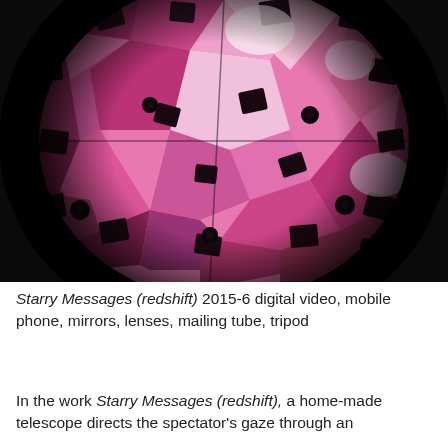[Figure (photo): A circular vignette photograph viewed through a telescope/kaleidoscope lens showing a pink and magenta mosaic or tiled pattern with dark square and rectangular pieces arranged in a geometric pattern. The image is surrounded by a black background, giving it the appearance of being seen through a peephole or optical instrument.]
Starry Messages (redshift) 2015-6 digital video, mobile phone, mirrors, lenses, mailing tube, tripod
In the work Starry Messages (redshift), a home-made telescope directs the spectator's gaze through an